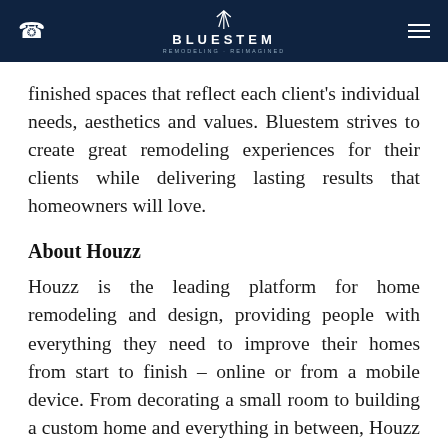BLUESTEM REMODELING · REIMAGINED
finished spaces that reflect each client's individual needs, aesthetics and values. Bluestem strives to create great remodeling experiences for their clients while delivering lasting results that homeowners will love.
About Houzz
Houzz is the leading platform for home remodeling and design, providing people with everything they need to improve their homes from start to finish – online or from a mobile device. From decorating a small room to building a custom home and everything in between, Houzz connects millions of homeowners, home design enthusiasts and home